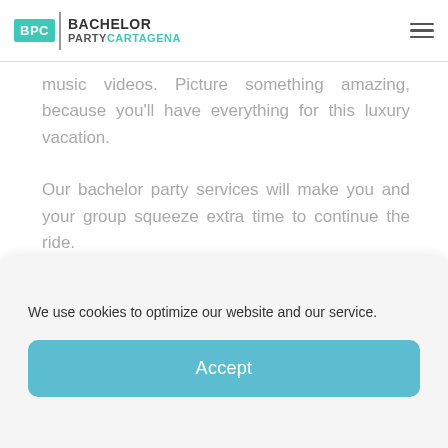BPC | BACHELOR PARTY CARTAGENA
music videos. Picture something amazing, because you'll have everything for this luxury vacation.

Our bachelor party services will make you and your group squeeze extra time to continue the ride.

Bear in mind that any and all of your
We use cookies to optimize our website and our service.
Accept